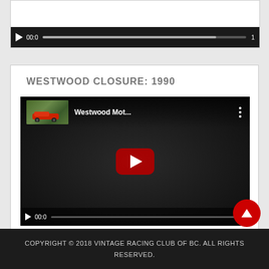[Figure (screenshot): Partially visible YouTube video player embedded in a white card, showing bottom control bar with play button, time 00:0, progress bar, and duration indicator.]
WESTWOOD CLOSURE: 1990
[Figure (screenshot): YouTube video embed showing 'Westwood Mot...' with YouTube player controls. Thumbnail shows a racing car on a track. Red play button in center. Bottom bar shows 00:0 time and progress bar with duration 4.]
COPYRIGHT © 2018 VINTAGE RACING CLUB OF BC. ALL RIGHTS RESERVED.